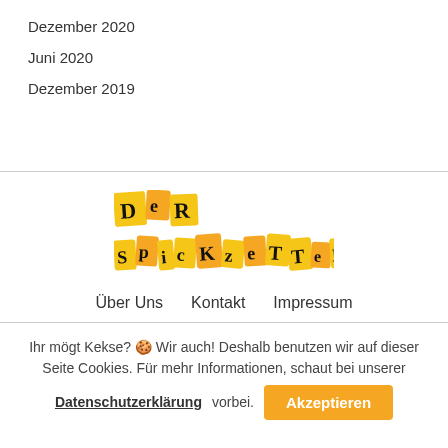Dezember 2020
Juni 2020
Dezember 2019
[Figure (logo): Der Spickzettel logo — individual letters on yellow/orange rectangular tiles arranged in two rows: 'DeR' on top, 'SpicKzeTTel' on bottom, bold black lettering on yellow background.]
Über Uns   Kontakt   Impressum
Ihr mögt Kekse? 🍪 Wir auch! Deshalb benutzen wir auf dieser Seite Cookies. Für mehr Informationen, schaut bei unserer Datenschutzerklärung vorbei.
Akzeptieren